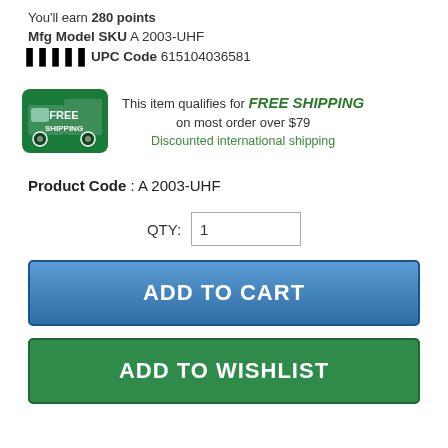You'll earn 280 points
Mfg Model SKU A 2003-UHF
UPC Code 615104036581
[Figure (infographic): Free shipping truck icon with text: This item qualifies for FREE SHIPPING on most order over $79. Discounted international shipping.]
Product Code : A 2003-UHF
QTY: 1
ADD TO CART
ADD TO WISHLIST